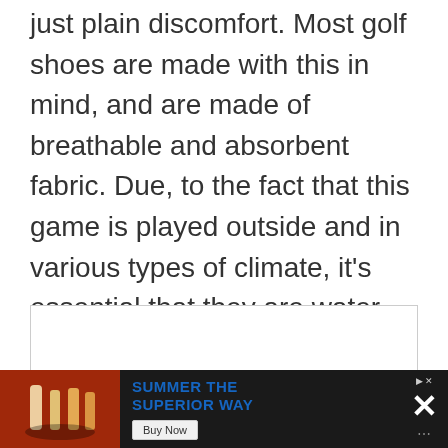just plain discomfort. Most golf shoes are made with this in mind, and are made of breathable and absorbent fabric. Due, to the fact that this game is played outside and in various types of climate, it's essential that they are water resistant as well. Stepping in a puddle is bad enough, without having it ruin your new pair of shoes.
[Figure (other): Empty white content box with border]
[Figure (other): Advertisement banner at bottom: showing a bar scene image on left, text SUMMER THE SUPERIOR WAY with Buy Now button in blue, and close X button on right, on dark background]